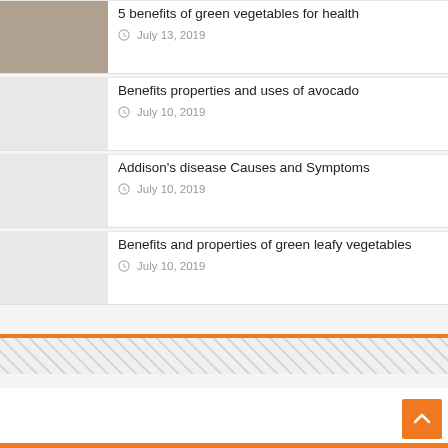5 benefits of green vegetables for health
July 13, 2019
Benefits properties and uses of avocado
July 10, 2019
Addison's disease Causes and Symptoms
July 10, 2019
Benefits and properties of green leafy vegetables
July 10, 2019